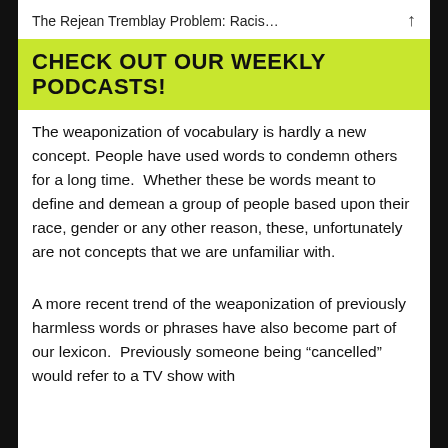The Rejean Tremblay Problem: Racis...
[Figure (infographic): Green banner with bold black uppercase text: CHECK OUT OUR WEEKLY PODCASTS!]
The weaponization of vocabulary is hardly a new concept. People have used words to condemn others for a long time.  Whether these be words meant to define and demean a group of people based upon their race, gender or any other reason, these, unfortunately are not concepts that we are unfamiliar with.
A more recent trend of the weaponization of previously harmless words or phrases have also become part of our lexicon.  Previously someone being “cancelled” would refer to a TV show with